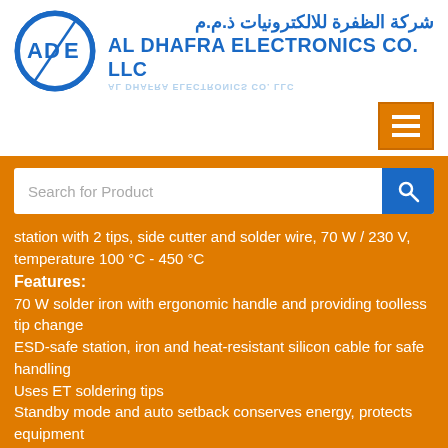[Figure (logo): Al Dhafra Electronics Co. LLC circular logo with 'ADE' letters and lightning bolt, blue and white]
شركة الظفرة للالكترونيات ذ.م.م
AL DHAFRA ELECTRONICS CO. LLC
[Figure (other): Hamburger menu button (three horizontal lines) with orange background]
[Figure (other): Search bar with placeholder text 'Search for Product' and blue search button]
station with 2 tips, side cutter and solder wire, 70 W / 230 V, temperature 100 °C - 450 °C
Features:
70 W solder iron with ergonomic handle and providing toolless tip change
ESD-safe station, iron and heat-resistant silicon cable for safe handling
Uses ET soldering tips
Standby mode and auto setback conserves energy, protects equipment
Password protected to preserve settings